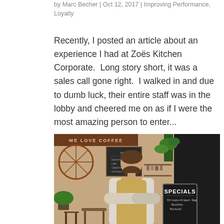by Marc Becher | Oct 12, 2017 | Improving Performance, Loyalty
Recently, I posted an article about an experience I had at Zoës Kitchen Corporate.  Long story short, it was a sales call gone right.  I walked in and due to dumb luck, their entire staff was in the lobby and cheered me on as if I were the most amazing person to enter...
[Figure (photo): A bearded man wearing a light apron with arms crossed stands in front of a coffee shop. Behind him is a sign reading 'WE LOVE COFFEE', a chalkboard menu, a bicycle, and plants. To his right is a specials board with handwritten items.]